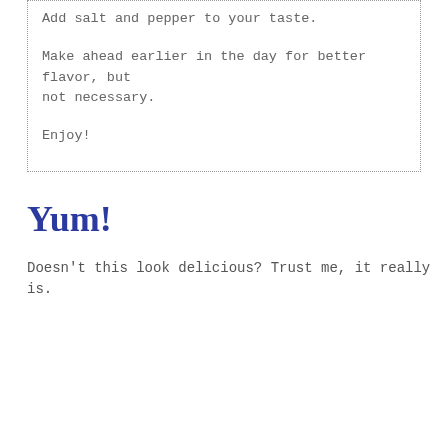Add salt and pepper to your taste.
Make ahead earlier in the day for better flavor, but not necessary.
Enjoy!
Yum!
Doesn’t this look delicious? Trust me, it really is.